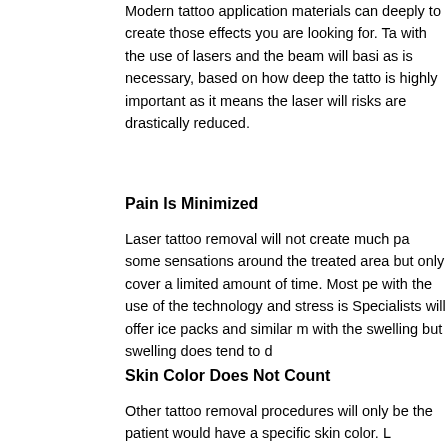Modern tattoo application materials can deeply to create those effects you are looking for. Tattoo with the use of lasers and the beam will basically as is necessary, based on how deep the tattoo is highly important as it means the laser will not risks are drastically reduced.
Pain Is Minimized
Laser tattoo removal will not create much pain some sensations around the treated area but only cover a limited amount of time. Most people with the use of the technology and stress is basically Specialists will offer ice packs and similar materials with the swelling but swelling does tend to disappear.
Skin Color Does Not Count
Other tattoo removal procedures will only be used if the patient would have a specific skin color. La